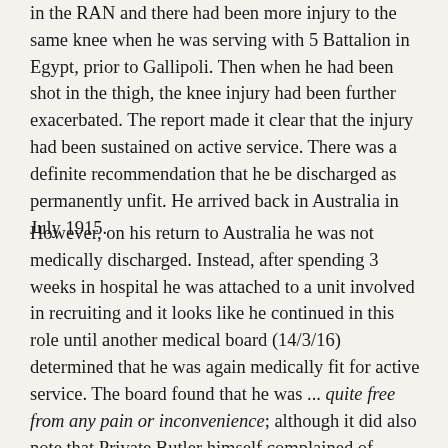in the RAN and there had been more injury to the same knee when he was serving with 5 Battalion in Egypt, prior to Gallipoli. Then when he had been shot in the thigh, the knee injury had been further exacerbated. The report made it clear that the injury had been sustained on active service. There was a definite recommendation that he be discharged as permanently unfit. He arrived back in Australia in July 1915.
However, on his return to Australia he was not medically discharged. Instead, after spending 3 weeks in hospital he was attached to a unit involved in recruiting and it looks like he continued in this role until another medical board (14/3/16) determined that he was again medically fit for active service. The board found that he was ... quite free from any pain or inconvenience; although it did also note that Private Butler himself complained of ... weakness in R knee. Ironically, recruitment levels were falling by this point and there was growing pressure to toughen the standards for soldiers being found to be medically unfit.